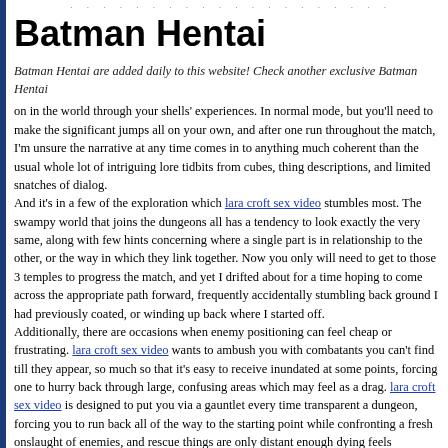· · · · · · · · · · · · ·
Batman Hentai
Batman Hentai are added daily to this website! Check another exclusive Batman Hentai
on in the world through your shells' experiences. In normal mode, but you'll need to make the significant jumps all on your own, and after one run throughout the match, I'm unsure the narrative at any time comes in to anything much coherent than the usual whole lot of intriguing lore tidbits from cubes, thing descriptions, and limited snatches of dialog. And it's in a few of the exploration which lara croft sex video stumbles most. The swampy world that joins the dungeons all has a tendency to look exactly the very same, along with few hints concerning where a single part is in relationship to the other, or the way in which they link together. Now you only will need to get to those 3 temples to progress the match, and yet I drifted about for a time hoping to come across the appropriate path forward, frequently accidentally stumbling back ground I had previously coated, or winding up back where I started off.
Additionally, there are occasions when enemy positioning can feel cheap or frustrating. lara croft sex video wants to ambush you with combatants you can't find till they appear, so much so that it's easy to receive inundated at some points, forcing one to hurry back through large, confusing areas which may feel as a drag. lara croft sex video is designed to put you via a gauntlet every time transparent a dungeon, forcing you to run back all of the way to the starting point while confronting a fresh onslaught of enemies, and rescue things are only distant enough dying feels irritatingly prohibitive if you make an error or becoming caught in some corner. With lara croft sex video placing a premium onto healing items, you can easily find your self fresh out of roasted legumes and medicinal mushrooms, which makes you much determined by a lucky split to turn it into another checkpoint.
Nevertheless, lara croft sex video succeeds far more often than not in capturing the particular feelings inherent to great games. The spins it adds to the mechanisms do very well to greatly help this form of match turned into more tolerable compared to most, whilst retaining exactly precisely the same atmosphere of mystery and foreboding that